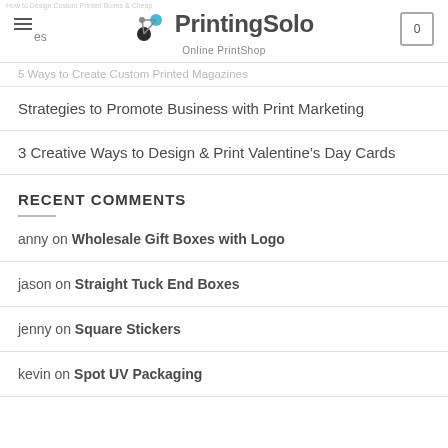PrintingSolo — Online PrintShop
5 Ways to Create Custom Printed Magazines
Strategies to Promote Business with Print Marketing
3 Creative Ways to Design & Print Valentine's Day Cards
RECENT COMMENTS
anny on Wholesale Gift Boxes with Logo
jason on Straight Tuck End Boxes
jenny on Square Stickers
kevin on Spot UV Packaging